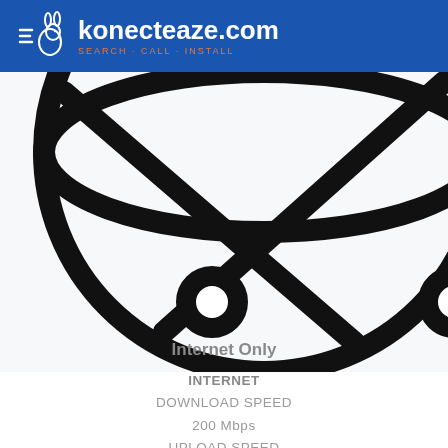konecteaze.com SEARCH · CALL · INSTALL
[Figure (illustration): Close-up of a network/internet globe icon showing curved lines and circular nodes on a white/light gray background, partially cropped.]
Internet Only
INTERNET
DOWNLOAD SPEED
200 Mbps
UPLOAD SPEED
200 Mbps
CONNECTION: FIBER